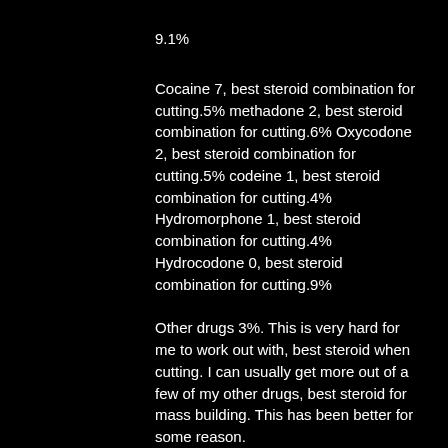9.1%
Cocaine 7, best steroid combination for cutting.5% methadone 2, best steroid combination for cutting.6% Oxycodone 2, best steroid combination for cutting.5% codeine 1, best steroid combination for cutting.4% Hydromorphone 1, best steroid combination for cutting.4% Hydrocodone 0, best steroid combination for cutting.9%
Other drugs 3%. This is very hard for me to work out with, best steroid when cutting. I can usually get more out of a few of my other drugs, best steroid for mass building. This has been better for some reason.
12.1%
Oxycodone 3, best steroid combination for